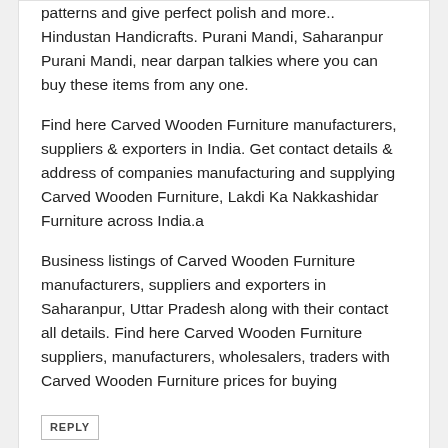patterns and give perfect polish and more... Hindustan Handicrafts. Purani Mandi, Saharanpur Purani Mandi, near darpan talkies where you can buy these items from any one.
Find here Carved Wooden Furniture manufacturers, suppliers & exporters in India. Get contact details & address of companies manufacturing and supplying Carved Wooden Furniture, Lakdi Ka Nakkashidar Furniture across India.a
Business listings of Carved Wooden Furniture manufacturers, suppliers and exporters in Saharanpur, Uttar Pradesh along with their contact all details. Find here Carved Wooden Furniture suppliers, manufacturers, wholesalers, traders with Carved Wooden Furniture prices for buying
REPLY
Anonymous